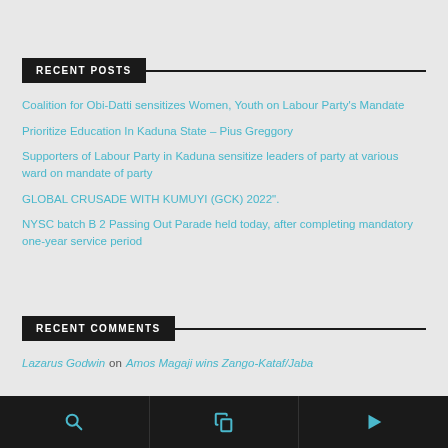RECENT POSTS
Coalition for Obi-Datti sensitizes Women, Youth on Labour Party's Mandate
Prioritize Education In Kaduna State – Pius Greggory
Supporters of Labour Party in Kaduna sensitize leaders of party at various ward on mandate of party
GLOBAL CRUSADE WITH KUMUYI (GCK) 2022".
NYSC batch B 2 Passing Out Parade held today, after completing mandatory one-year service period
RECENT COMMENTS
Lazarus Godwin on Amos Magaji wins Zango-Kataf/Jaba
Search | Pages | Play